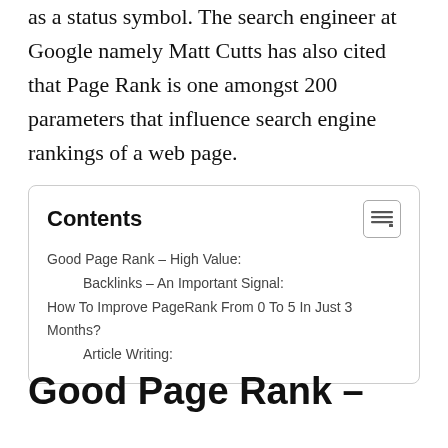as a status symbol. The search engineer at Google namely Matt Cutts has also cited that Page Rank is one amongst 200 parameters that influence search engine rankings of a web page.
Contents
Good Page Rank – High Value:
Backlinks – An Important Signal:
How To Improve PageRank From 0 To 5 In Just 3 Months?
Article Writing:
Good Page Rank –